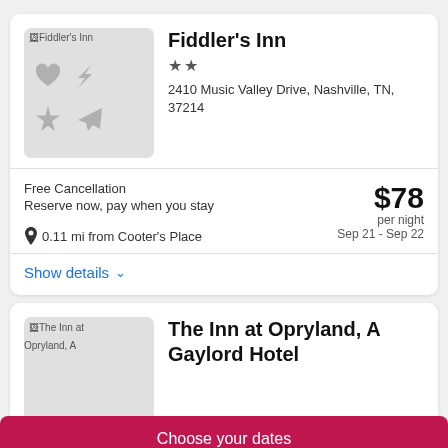[Figure (photo): Placeholder image for Fiddler's Inn with broken image icon and image placeholder icons (heart, lightning bolt, plane)]
Fiddler's Inn
★★
2410 Music Valley Drive, Nashville, TN, 37214
Free Cancellation
Reserve now, pay when you stay
0.11 mi from Cooter's Place
$78 per night Sep 21 - Sep 22
Show details
[Figure (photo): Placeholder image for The Inn at Opryland, A Gaylord Hotel]
The Inn at Opryland, A Gaylord Hotel
Choose your dates